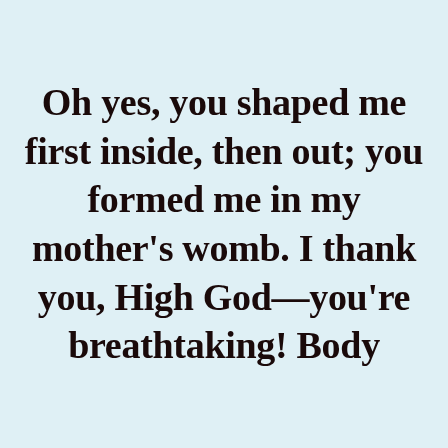Oh yes, you shaped me first inside, then out; you formed me in my mother's womb. I thank you, High God—you're breathtaking! Body